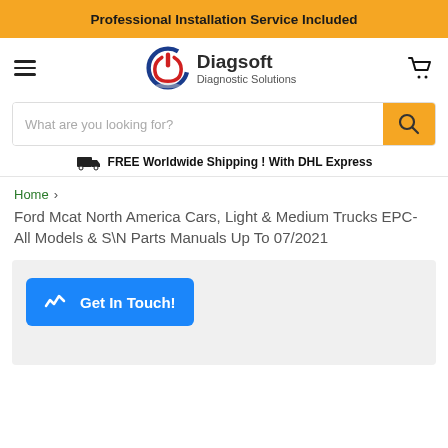Professional Installation Service Included
[Figure (logo): Diagsoft Diagnostic Solutions logo with circular power symbol in red and blue]
FREE Worldwide Shipping ! With DHL Express
Home > Ford Mcat North America Cars, Light & Medium Trucks EPC- All Models & S\N Parts Manuals Up To 07/2021
Get In Touch!